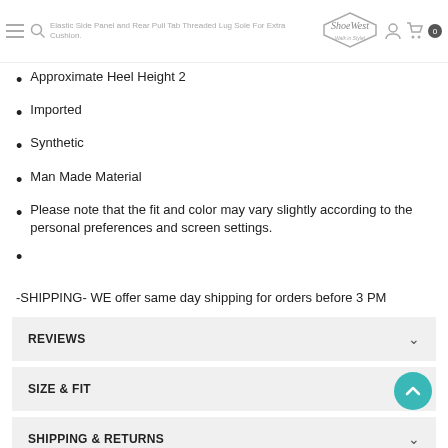Elastic Side Panel and Rear Pull Tab Threaded Lug Sole For Extra Cushion. ShoeWest — Walk in Style!
Approximate Heel Height 2
Imported
Synthetic
Man Made Material
Please note that the fit and color may vary slightly according to the personal preferences and screen settings.
-SHIPPING- WE offer same day shipping for orders before 3 PM
REVIEWS
SIZE & FIT
SHIPPING & RETURNS